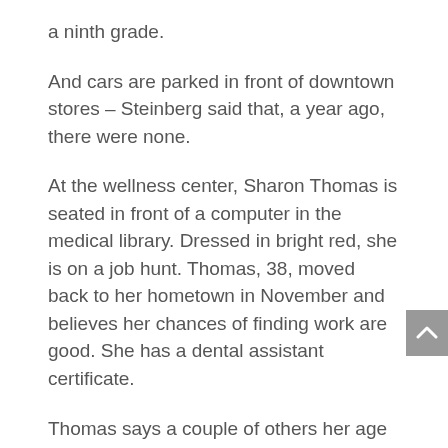a ninth grade.
And cars are parked in front of downtown stores – Steinberg said that, a year ago, there were none.
At the wellness center, Sharon Thomas is seated in front of a computer in the medical library. Dressed in bright red, she is on a job hunt. Thomas, 38, moved back to her hometown in November and believes her chances of finding work are good. She has a dental assistant certificate.
Thomas says a couple of others her age have moved back home, too. Her parents live in the